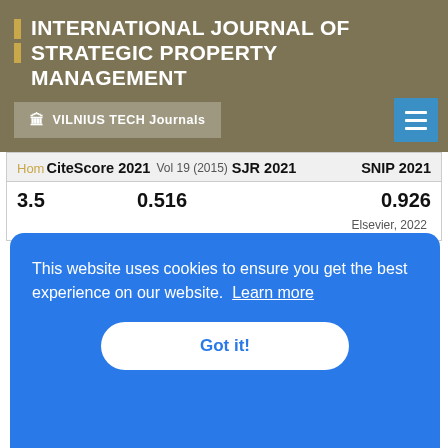INTERNATIONAL JOURNAL of STRATEGIC PROPERTY MANAGEMENT
VILNIUS TECH Journals
| CiteScore 2021 | SJR 2021 | SNIP 2021 |
| --- | --- | --- |
| 3.5 | 0.516 | 0.926 |
Elsevier, 2022
[Figure (logo): Crossref logo with colorful triangular/arrow shapes in red, yellow, and blue]
This website uses cookies to ensure you get the best experience on our website. Learn more
Got it!